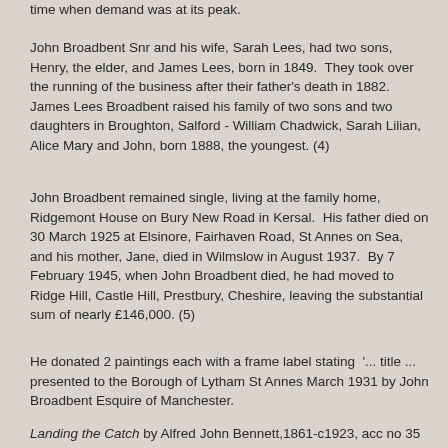time when demand was at its peak.
John Broadbent Snr and his wife, Sarah Lees, had two sons, Henry, the elder, and James Lees, born in 1849.  They took over the running of the business after their father's death in 1882.  James Lees Broadbent raised his family of two sons and two daughters in Broughton, Salford - William Chadwick, Sarah Lilian, Alice Mary and John, born 1888, the youngest. (4)
John Broadbent remained single, living at the family home, Ridgemont House on Bury New Road in Kersal.  His father died on 30 March 1925 at Elsinore, Fairhaven Road, St Annes on Sea,  and his mother, Jane, died in Wilmslow in August 1937.  By 7 February 1945, when John Broadbent died, he had moved to Ridge Hill, Castle Hill, Prestbury, Cheshire, leaving the substantial sum of nearly £146,000. (5)
He donated 2 paintings each with a frame label stating  '... title ... presented to the Borough of Lytham St Annes March 1931 by John Broadbent Esquire of Manchester.
Landing the Catch by Alfred John Bennett,1861-c1923, acc no 35